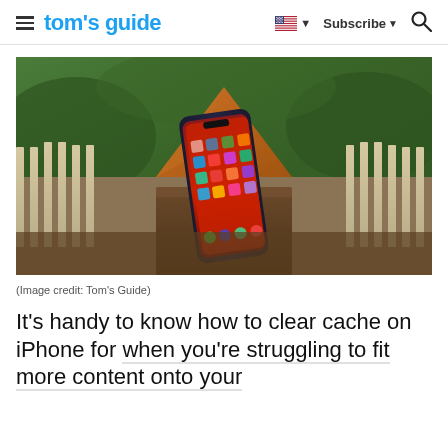tom's guide | Subscribe
[Figure (photo): An iPhone displayed outdoors on a wooden surface with a decorative copper post cap, showing a colorful home screen with various app icons, with a white fence and green trees in the background.]
(Image credit: Tom's Guide)
It's handy to know how to clear cache on iPhone for when you're struggling to fit more content onto your